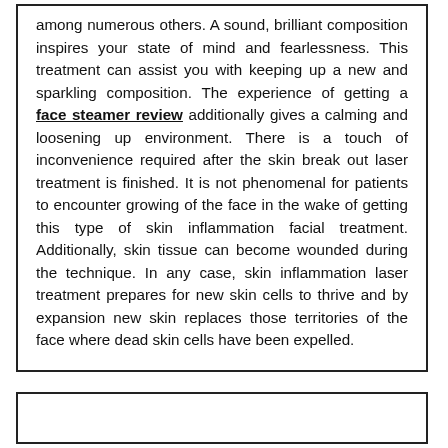among numerous others. A sound, brilliant composition inspires your state of mind and fearlessness. This treatment can assist you with keeping up a new and sparkling composition. The experience of getting a face steamer review additionally gives a calming and loosening up environment. There is a touch of inconvenience required after the skin break out laser treatment is finished. It is not phenomenal for patients to encounter growing of the face in the wake of getting this type of skin inflammation facial treatment. Additionally, skin tissue can become wounded during the technique. In any case, skin inflammation laser treatment prepares for new skin cells to thrive and by expansion new skin replaces those territories of the face where dead skin cells have been expelled.